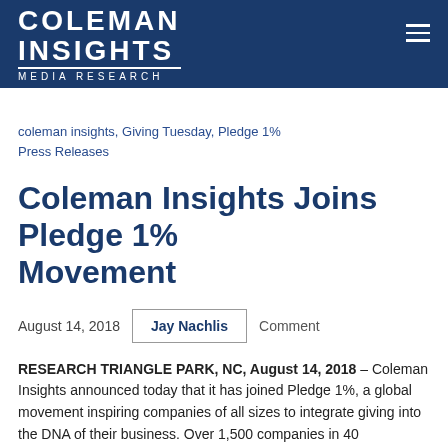COLEMAN INSIGHTS Media Research
coleman insights, Giving Tuesday, Pledge 1% Press Releases
Coleman Insights Joins Pledge 1% Movement
August 14, 2018  Jay Nachlis  Comment
RESEARCH TRIANGLE PARK, NC, August 14, 2018 – Coleman Insights announced today that it has joined Pledge 1%, a global movement inspiring companies of all sizes to integrate giving into the DNA of their business. Over 1,500 companies in 40